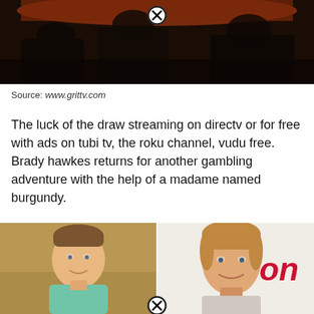[Figure (photo): Dark image of people sitting, with a close/dismiss button (circled X) overlay at the top center]
Source: www.grittv.com
The luck of the draw streaming on directv or for free with ads on tubi tv, the roku channel, vudu free. Brady hawkes returns for another gambling adventure with the help of a madame named burgundy.
[Figure (photo): Two side-by-side photos of men. Left: man in light teal shirt with sandy background. Right: man with reddish-blond hair against white background with red 'on' text visible. A circled X dismiss button appears at the bottom center between the two images.]